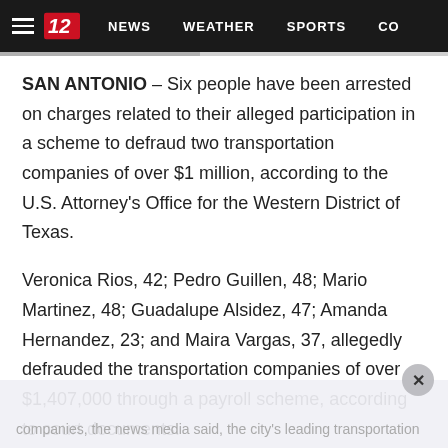NEWS   WEATHER   SPORTS   CO
SAN ANTONIO – Six people have been arrested on charges related to their alleged participation in a scheme to defraud two transportation companies of over $1 million, according to the U.S. Attorney's Office for the Western District of Texas.
Veronica Rios, 42; Pedro Guillen, 48; Mario Martinez, 48; Guadalupe Alsidez, 47; Amanda Hernandez, 23; and Maira Vargas, 37, allegedly defrauded the transportation companies of over $1,407,000 through a payroll scheme, according to court documents.